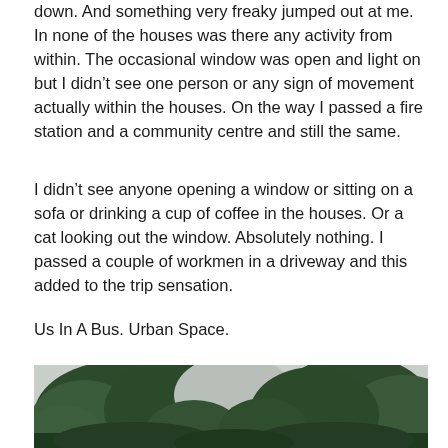down. And something very freaky jumped out at me. In none of the houses was there any activity from within. The occasional window was open and light on but I didn't see one person or any sign of movement actually within the houses. On the way I passed a fire station and a community centre and still the same.
I didn't see anyone opening a window or sitting on a sofa or drinking a cup of coffee in the houses. Or a cat looking out the window. Absolutely nothing. I passed a couple of workmen in a driveway and this added to the trip sensation.
Us In A Bus. Urban Space.
[Figure (photo): Outdoor photograph showing trees with green foliage against a light sky, taken from below or at street level.]